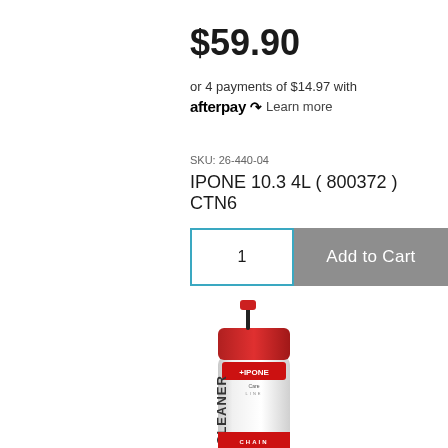$59.90
or 4 payments of $14.97 with afterpay Learn more
SKU: 26-440-04
IPONE 10.3 4L ( 800372 ) CTN6
1  Add to Cart
[Figure (photo): IPONE Care Line Chain Cleaner aerosol spray can with red cap and nozzle, white can with red and black branding, partially cropped at the bottom of the image.]